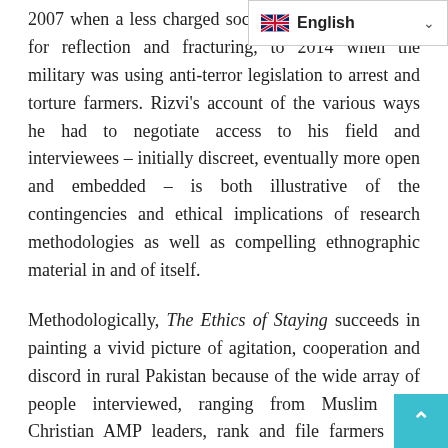2007 when a less charged social atmosphere allowed for reflection and fracturing, to 2014 when the military was using anti-terror legislation to arrest and torture farmers. Rizvi's account of the various ways he had to negotiate access to his field and interviewees – initially discreet, eventually more open and embedded – is both illustrative of the contingencies and ethical implications of research methodologies as well as compelling ethnographic material in and of itself.
Methodologically, The Ethics of Staying succeeds in painting a vivid picture of agitation, cooperation and discord in rural Pakistan because of the wide array of people interviewed, ranging from Muslim and Christian AMP leaders, rank and file farmers and militant village women to high-ranking officials from the military, police and civilian institutions. Many dynamics of the movement are brought to